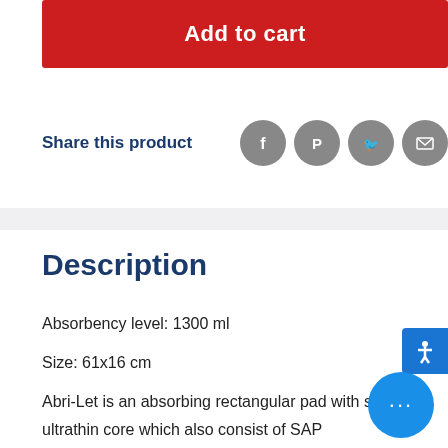Add to cart
Share this product
Description
Absorbency level: 1300 ml
Size: 61x16 cm
Abri-Let is an absorbing rectangular pad with soft and ultrathin core which also consist of SAP (Superabsorbent). These products have white textile-like backsheet foil (TBS) and self-adhesive strips on the back of the pad. It can be used as a maternity pad or a pad for light incontinence. We recommend Abri-Let to be tested first with an Abri-Fix fitting...